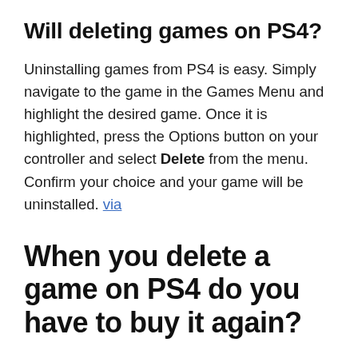Will deleting games on PS4?
Uninstalling games from PS4 is easy. Simply navigate to the game in the Games Menu and highlight the desired game. Once it is highlighted, press the Options button on your controller and select Delete from the menu. Confirm your choice and your game will be uninstalled. via
When you delete a game on PS4 do you have to buy it again?
3 Answers. You will get to keep your games. You'll